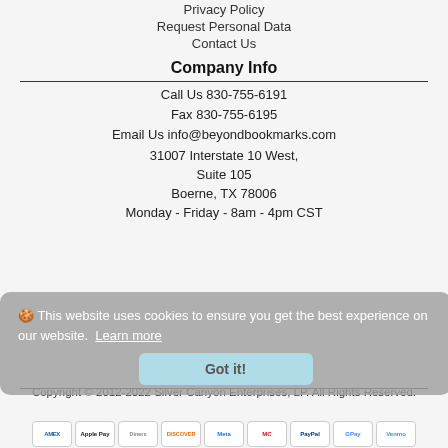Privacy Policy
Request Personal Data
Contact Us
Company Info
Call Us 830-755-6191
Fax 830-755-6195
Email Us info@beyondbookmarks.com
31007 Interstate 10 West,
Suite 105
Boerne, TX 78006
Monday - Friday - 8am - 4pm CST
🍪 This website uses cookies to ensure you get the best experience on our website. Learn more
Got it!
Copyright © 2012-2022 Silver Canyon Enterprises, LP. All Rights Reserved.
[Figure (other): Payment method icons: AMEX, Apple Pay, Diners, Discover, Meta, Mastercard, PayPal, GPay, Venmo]